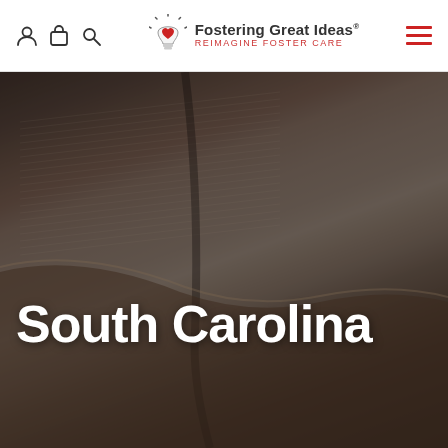Fostering Great Ideas® Reimagine Foster Care
[Figure (photo): Close-up photograph of an open book with pages fanned, shot from a low angle. The image has a dark, moody tone with warm brown tones of the book pages and cover. A dark overlay covers the image.]
South Carolina